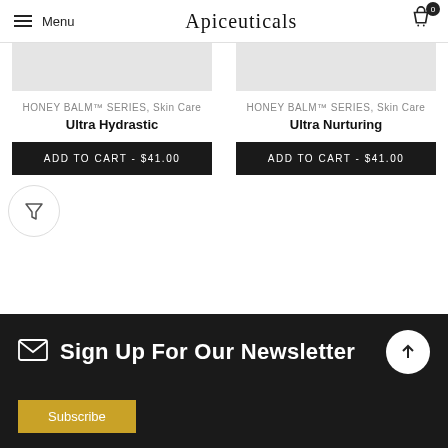Menu | Apiceuticals | 0
[Figure (other): Product image placeholder for Ultra Hydrastic (grey rectangle, cropped)]
HONEY BALM™ SERIES, Skin Care
Ultra Hydrastic
ADD TO CART - $41.00
[Figure (other): Product image placeholder for Ultra Nurturing (grey rectangle, cropped)]
HONEY BALM™ SERIES, Skin Care
Ultra Nurturing
ADD TO CART - $41.00
[Figure (other): Filter button (funnel icon in a circle)]
Sign Up For Our Newsletter
Subscribe